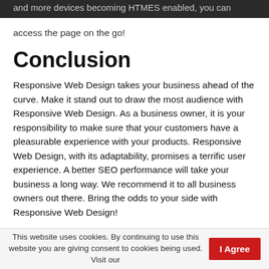and more devices becoming HTMES enabled, you can access the page on the go!
Conclusion
Responsive Web Design takes your business ahead of the curve. Make it stand out to draw the most audience with Responsive Web Design. As a business owner, it is your responsibility to make sure that your customers have a pleasurable experience with your products. Responsive Web Design, with its adaptability, promises a terrific user experience. A better SEO performance will take your business a long way. We recommend it to all business owners out there. Bring the odds to your side with Responsive Web Design!
This website uses cookies. By continuing to use this website you are giving consent to cookies being used. Visit our  I Agree